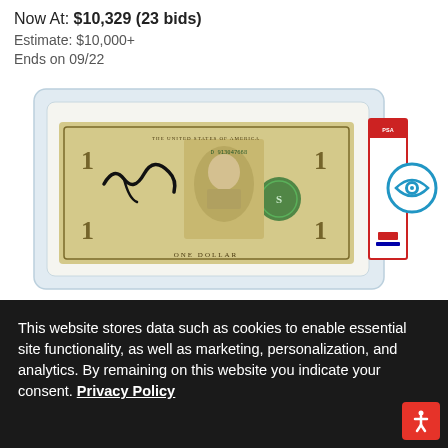Now At: $10,329 (23 bids)
Estimate: $10,000+
Ends on 09/22
[Figure (photo): PSA-graded slabbed US one dollar bill with a bold black autograph/signature on the face of the bill, encased in a clear plastic slab with a red PSA label on the right side. The bill shows George Washington portrait and reads THE UNITED STATES OF AMERICA / ONE DOLLAR. Serial number D91304766B visible. An eye icon button is overlaid in the top right corner.]
This website stores data such as cookies to enable essential site functionality, as well as marketing, personalization, and analytics. By remaining on this website you indicate your consent. Privacy Policy